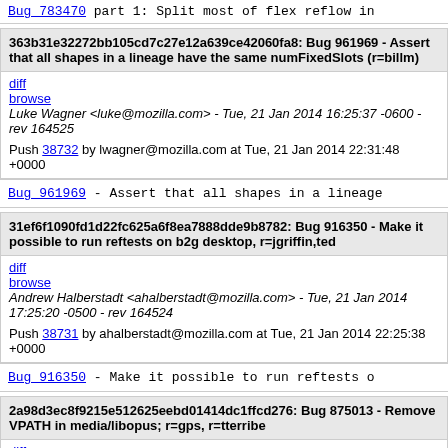Bug 783470 part 1: Split most of flex reflow in
363b31e32272bb105cd7c27e12a639ce42060fa8: Bug 961969 - Assert that all shapes in a lineage have the same numFixedSlots (r=billm)
Luke Wagner <luke@mozilla.com> - Tue, 21 Jan 2014 16:25:37 -0600 - rev 164525
Push 38732 by lwagner@mozilla.com at Tue, 21 Jan 2014 22:31:48 +0000
Bug_961969 - Assert that all shapes in a lineage
31ef6f1090fd1d22fc625a6f8ea7888dde9b8782: Bug 916350 - Make it possible to run reftests on b2g desktop, r=jgriffin,ted
Andrew Halberstadt <ahalberstadt@mozilla.com> - Tue, 21 Jan 2014 17:25:20 -0500 - rev 164524
Push 38731 by ahalberstadt@mozilla.com at Tue, 21 Jan 2014 22:25:38 +0000
Bug_916350 - Make it possible to run reftests o
2a98d3ec8f9215e512625eebd01414dc1ffcd276: Bug 875013 - Remove VPATH in media/libopus; r=gps, r=tterribe
Mike Shal <mshal@mozilla.com> - Thu, 09 Jan 2014 15:44:24 -0500 - rev 164523
Push 38730 by mshal@mozilla.com at Tue, 21 Jan 2014 22:17:34 +0000
Bug_875013 - Remove VPATH in media/libopus; r=g